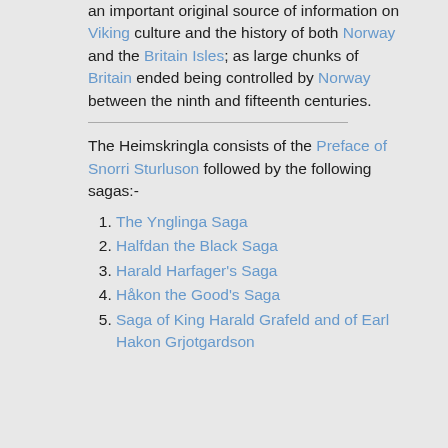an important original source of information on Viking culture and the history of both Norway and the Britain Isles; as large chunks of Britain ended being controlled by Norway between the ninth and fifteenth centuries.
The Heimskringla consists of the Preface of Snorri Sturluson followed by the following sagas:-
The Ynglinga Saga
Halfdan the Black Saga
Harald Harfager's Saga
Håkon the Good's Saga
Saga of King Harald Grafeld and of Earl Hakon Grjotgardson